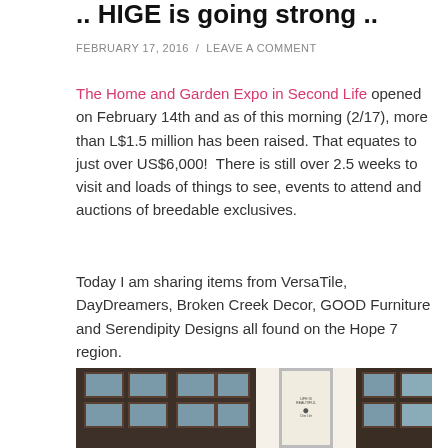.. HIGE is going strong ..
FEBRUARY 17, 2016  /  LEAVE A COMMENT
The Home and Garden Expo in Second Life opened on February 14th and as of this morning (2/17), more than L$1.5 million has been raised. That equates to just over US$6,000!  There is still over 2.5 weeks to visit and loads of things to see, events to attend and auctions of breedable exclusives.
Today I am sharing items from VersaTile, DayDreamers, Broken Creek Decor, GOOD Furniture and Serendipity Designs all found on the Hope 7 region.
[Figure (photo): Interior photo from Second Life showing windowed door panels with a white door/sign in center, dark brown wooden framing, and glass pane windows on either side.]